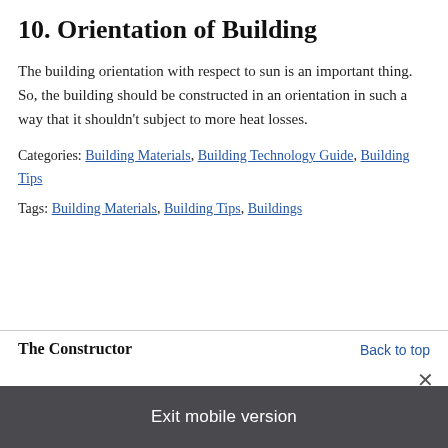10. Orientation of Building
The building orientation with respect to sun is an important thing. So, the building should be constructed in an orientation in such a way that it shouldn't subject to more heat losses.
Categories: Building Materials, Building Technology Guide, Building Tips
Tags: Building Materials, Building Tips, Buildings
The Constructor
Back to top
×
Exit mobile version